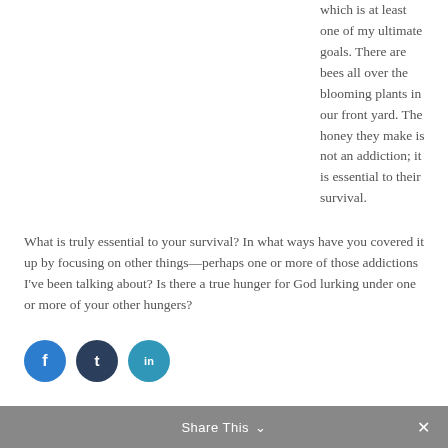which is at least one of my ultimate goals. There are bees all over the blooming plants in our front yard. The honey they make is not an addiction; it is essential to their survival.
What is truly essential to your survival? In what ways have you covered it up by focusing on other things—perhaps one or more of those addictions I've been talking about? Is there a true hunger for God lurking under one or more of your other hungers?
[Figure (other): Three social share icon buttons: Facebook (blue circle with f logo), Tumblr (dark navy circle with t logo), LinkedIn (teal circle with in logo)]
Share This ∨  ✕